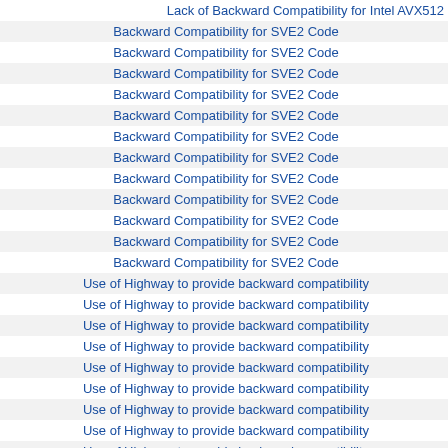| Lack of Backward Compatibility for Intel AVX512 |
| Backward Compatibility for SVE2 Code |
| Backward Compatibility for SVE2 Code |
| Backward Compatibility for SVE2 Code |
| Backward Compatibility for SVE2 Code |
| Backward Compatibility for SVE2 Code |
| Backward Compatibility for SVE2 Code |
| Backward Compatibility for SVE2 Code |
| Backward Compatibility for SVE2 Code |
| Backward Compatibility for SVE2 Code |
| Backward Compatibility for SVE2 Code |
| Backward Compatibility for SVE2 Code |
| Backward Compatibility for SVE2 Code |
| Use of Highway to provide backward compatibility |
| Use of Highway to provide backward compatibility |
| Use of Highway to provide backward compatibility |
| Use of Highway to provide backward compatibility |
| Use of Highway to provide backward compatibility |
| Use of Highway to provide backward compatibility |
| Use of Highway to provide backward compatibility |
| Use of Highway to provide backward compatibility |
| Use of Highway to provide backward compatibility |
| Use of Highway to provide backward compatibility |